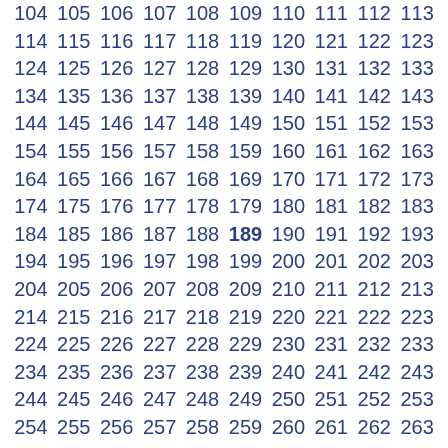104 105 106 107 108 109 110 111 112 113 114 115 116 117 118 119 120 121 122 123 124 125 126 127 128 129 130 131 132 133 134 135 136 137 138 139 140 141 142 143 144 145 146 147 148 149 150 151 152 153 154 155 156 157 158 159 160 161 162 163 164 165 166 167 168 169 170 171 172 173 174 175 176 177 178 179 180 181 182 183 184 185 186 187 188 189 190 191 192 193 194 195 196 197 198 199 200 201 202 203 204 205 206 207 208 209 210 211 212 213 214 215 216 217 218 219 220 221 222 223 224 225 226 227 228 229 230 231 232 233 234 235 236 237 238 239 240 241 242 243 244 245 246 247 248 249 250 251 252 253 254 255 256 257 258 259 260 261 262 263 264 265 266 267 268 269 270 271 272 273 274 275 276 277 278 279 280 281 282 283 284 285 286 287 288 289 290 291 292 293 294 295 296 297 298 299 300 301 302 303 304 305 306 307 308 309 310 311 312